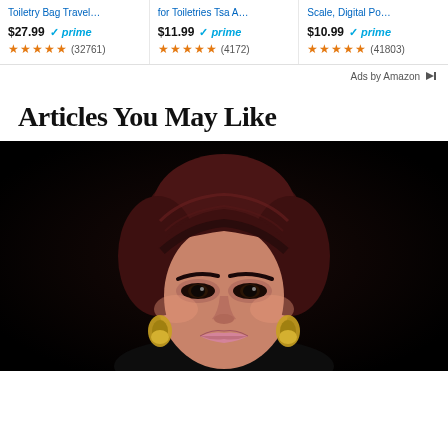[Figure (screenshot): Amazon ads row showing three product cards: Toiletry Bag Travel... $27.99 prime 4.5 stars (32761); for Toiletries Tsa A... $11.99 prime 4.5 stars (4172); luggage scale Digital Po... $10.99 prime 4.5 stars (41803)]
Ads by Amazon
Articles You May Like
[Figure (photo): A woman with dark reddish-brown hair and bangs, wearing gold earrings, photographed against a dark/black background. She appears to be middle-aged, with heavy eye makeup.]